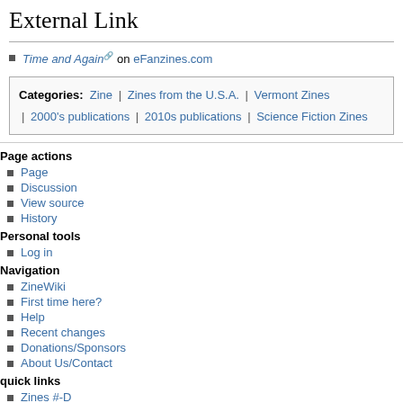External Link
Time and Again on eFanzines.com
Categories: Zine | Zines from the U.S.A. | Vermont Zines | 2000's publications | 2010s publications | Science Fiction Zines
Page actions
Page
Discussion
View source
History
Personal tools
Log in
Navigation
ZineWiki
First time here?
Help
Recent changes
Donations/Sponsors
About Us/Contact
quick links
Zines #-D
Zines E-J